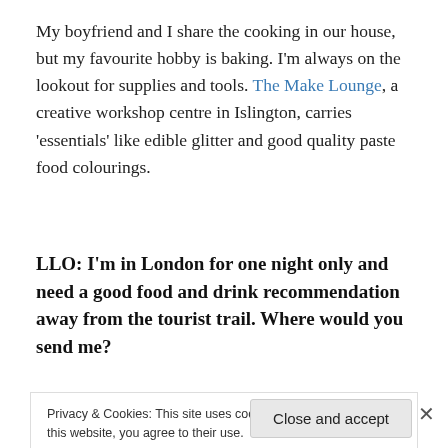My boyfriend and I share the cooking in our house, but my favourite hobby is baking. I'm always on the lookout for supplies and tools. The Make Lounge, a creative workshop centre in Islington, carries 'essentials' like edible glitter and good quality paste food colourings.
LLO: I'm in London for one night only and need a good food and drink recommendation away from the tourist trail. Where would you send me?
Privacy & Cookies: This site uses cookies. By continuing to use this website, you agree to their use.
To find out more, including how to control cookies, see here: Cookie Policy
Close and accept